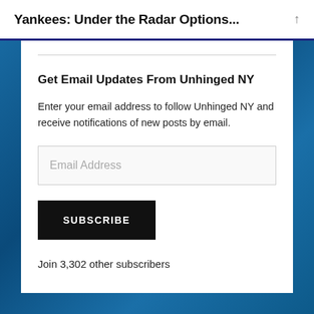Yankees: Under the Radar Options...
Get Email Updates From Unhinged NY
Enter your email address to follow Unhinged NY and receive notifications of new posts by email.
Email Address
SUBSCRIBE
Join 3,302 other subscribers